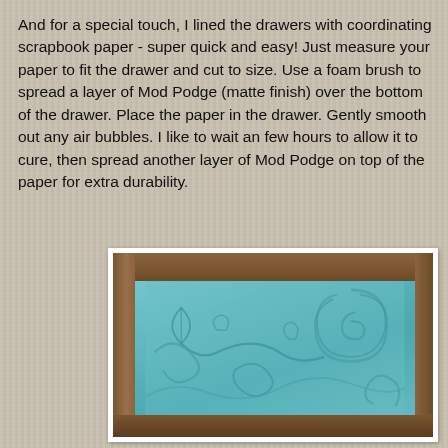And for a special touch, I lined the drawers with coordinating scrapbook paper - super quick and easy! Just measure your paper to fit the drawer and cut to size. Use a foam brush to spread a layer of Mod Podge (matte finish) over the bottom of the drawer. Place the paper in the drawer. Gently smooth out any air bubbles. I like to wait an few hours to allow it to cure, then spread another layer of Mod Podge on top of the paper for extra durability.
[Figure (photo): An open wooden drawer lined with teal/turquoise scrapbook paper featuring a decorative scrollwork/floral pattern, viewed from above at an angle.]